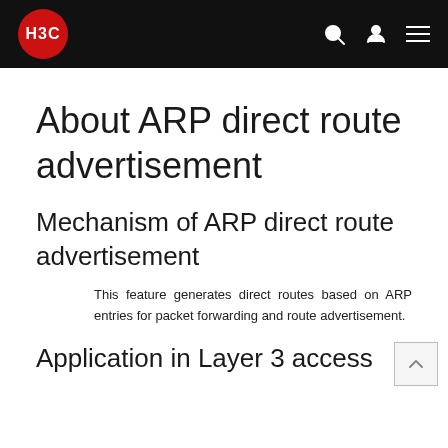H3C
About ARP direct route advertisement
Mechanism of ARP direct route advertisement
This feature generates direct routes based on ARP entries for packet forwarding and route advertisement.
Application in Layer 3 access